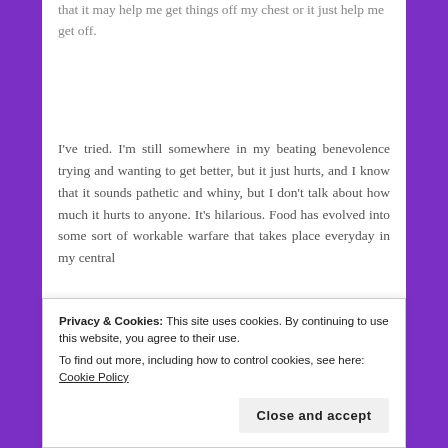that it may help me get things off my chest or it just help me get off.
I've tried. I'm still somewhere in my beating benevolence trying and wanting to get better, but it just hurts, and I know that it sounds pathetic and whiny, but I don't talk about how much it hurts to anyone. It's hilarious. Food has evolved into some sort of workable warfare that takes place everyday in my central
know I will never be exquisiteness personified, I'm
Privacy & Cookies: This site uses cookies. By continuing to use this website, you agree to their use.
To find out more, including how to control cookies, see here: Cookie Policy
Close and accept